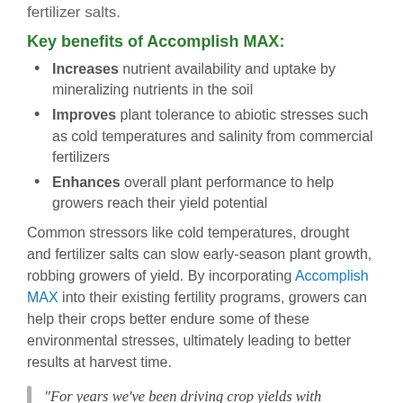fertilizer salts.
Key benefits of Accomplish MAX:
Increases nutrient availability and uptake by mineralizing nutrients in the soil
Improves plant tolerance to abiotic stresses such as cold temperatures and salinity from commercial fertilizers
Enhances overall plant performance to help growers reach their yield potential
Common stressors like cold temperatures, drought and fertilizer salts can slow early-season plant growth, robbing growers of yield. By incorporating Accomplish MAX into their existing fertility programs, growers can help their crops better endure some of these environmental stresses, ultimately leading to better results at harvest time.
“For years we’ve been driving crop yields with Accomplish LM. In